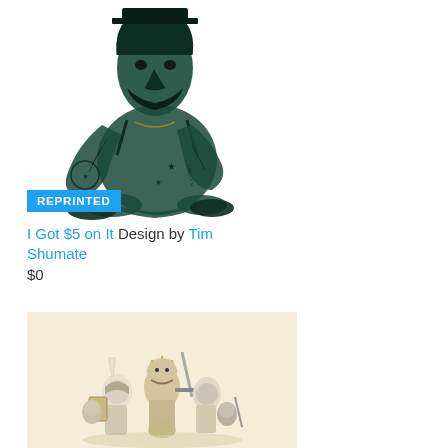[Figure (illustration): A detailed pencil-style illustration of Abraham Lincoln depicted as a tattooed, muscular figure sitting cross-legged, wearing a tank top, with tattoos covering his arms and body. Dark green tint on white background.]
REPRINTED
I Got $5 on It Design by Tim Shumate
$0
[Figure (illustration): An illustrated scene on a cream/beige background showing cartoon-style armored knights or warrior characters in a group, with swords and shields, drawn in a whimsical style.]